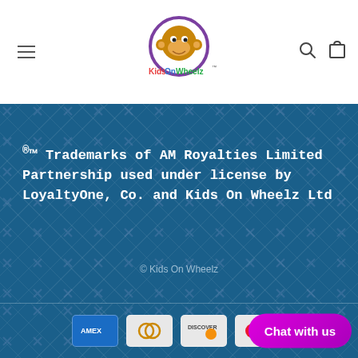Kids On Wheelz - website header with hamburger menu, logo, search and cart icons
®™ Trademarks of AM Royalties Limited Partnership used under license by LoyaltyOne, Co. and Kids On Wheelz Ltd
© Kids On Wheelz
[Figure (other): Payment method icons: American Express, Diners Club, Discover, Mastercard]
Chat with us